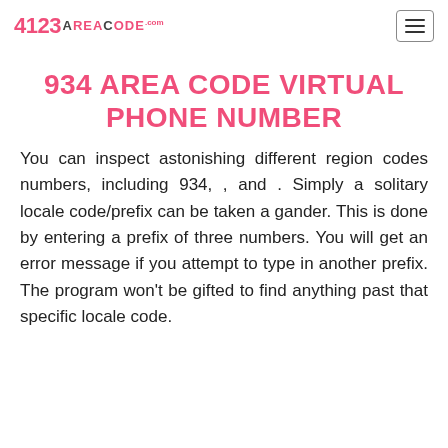423 AREACODE.com [logo] [hamburger menu]
934 AREA CODE VIRTUAL PHONE NUMBER
You can inspect astonishing different region codes numbers, including 934, , and . Simply a solitary locale code/prefix can be taken a gander. This is done by entering a prefix of three numbers. You will get an error message if you attempt to type in another prefix. The program won't be gifted to find anything past that specific locale code.